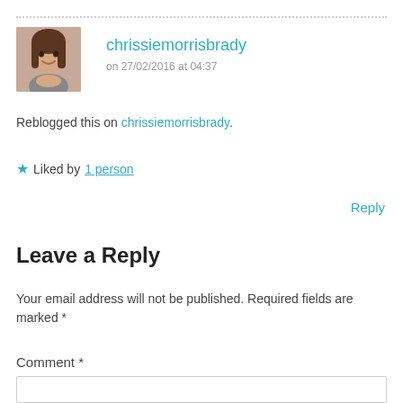[Figure (photo): Avatar photo of chrissiemorrisbrady — woman with brown hair smiling]
chrissiemorrisbrady
on 27/02/2016 at 04:37
Reblogged this on chrissiemorrisbrady.
★ Liked by 1 person
Reply
Leave a Reply
Your email address will not be published. Required fields are marked *
Comment *